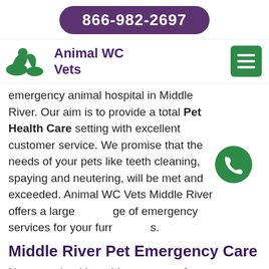866-982-2697
Animal WC Vets
emergency animal hospital in Middle River. Our aim is to provide a total Pet Health Care setting with excellent customer service. We promise that the needs of your pets like teeth cleaning, spaying and neutering, will be met and exceeded. Animal WC Vets Middle River offers a large range of emergency services for your furry friends.
Middle River Pet Emergency Care
Not every health problem your pet faces will require emergency Medical Help. With some diseases, signs may develop gradually or seem small on the outside, making it hard to decide if